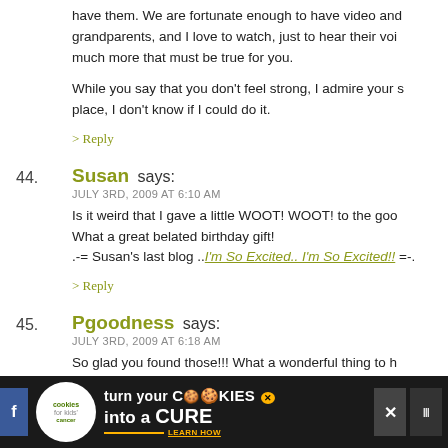have them. We are fortunate enough to have video and grandparents, and I love to watch, just to hear their voi much more that must be true for you.
While you say that you don't feel strong, I admire your s place, I don't know if I could do it.
> Reply
44. Susan says: JULY 3RD, 2009 AT 6:10 AM
Is it weird that I gave a little WOOT! WOOT! to the goo What a great belated birthday gift! .-= Susan's last blog ..I'm So Excited.. I'm So Excited!! =-.
> Reply
45. Pgoodness says: JULY 3RD, 2009 AT 6:18 AM
So glad you found those!!! What a wonderful thing to h
> Reply
[Figure (infographic): Advertisement bar for 'cookies for kids cancer' charity - dark background with cookie logo, text 'turn your COOKIES into a CURE LEARN HOW', close button, and social media icons]